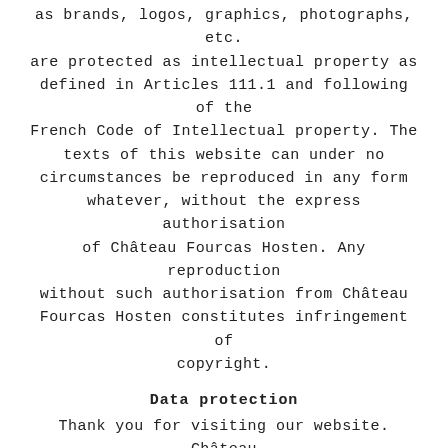as brands, logos, graphics, photographs, etc. are protected as intellectual property as defined in Articles 111.1 and following of the French Code of Intellectual property. The texts of this website can under no circumstances be reproduced in any form whatever, without the express authorisation of Château Fourcas Hosten. Any reproduction without such authorisation from Château Fourcas Hosten constitutes infringement of copyright.
Data protection
Thank you for visiting our website. Château Fourcas Hosten considers security and data protection to be extremely important. Protecting people's rights is part of our company culture and is included in our services